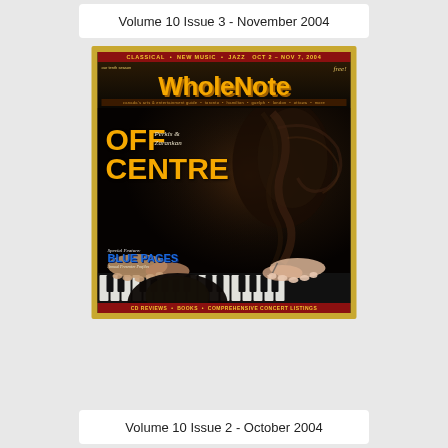Volume 10 Issue 3 - November 2004
[Figure (photo): Cover of WholeNote magazine Volume 10 Issue 2, October 2004. Shows a piano being played with two sets of hands. Large orange WholeNote logo at top. Text reads OFF CENTRE, Perkis & Zarankan, Special Feature: BLUE PAGES Annual Presenter Profiles. Top and bottom red bars with text: Classical, New Music, Jazz and CD Reviews, Books, Comprehensive Concert Listings.]
Volume 10 Issue 2 - October 2004